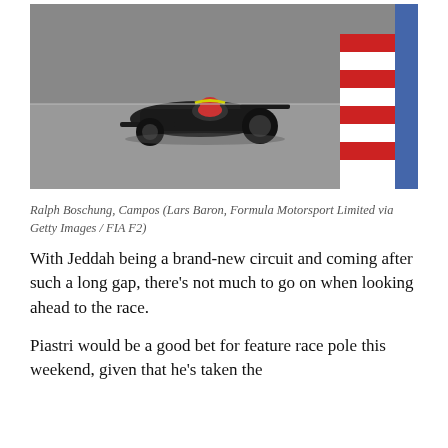[Figure (photo): A Formula 2 racing car (black livery, Campos team) driven by Ralph Boschung on a circuit, with red and white barriers and blue wall visible on the right side of the track.]
Ralph Boschung, Campos (Lars Baron, Formula Motorsport Limited via Getty Images / FIA F2)
With Jeddah being a brand-new circuit and coming after such a long gap, there's not much to go on when looking ahead to the race.
Piastri would be a good bet for feature race pole this weekend, given that he's taken the